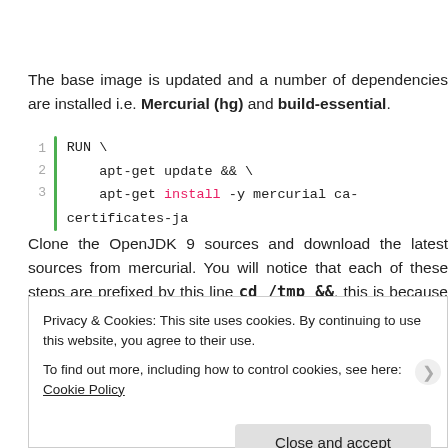The base image is updated and a number of dependencies are installed i.e. Mercurial (hg) and build-essential.
RUN \
    apt-get update && \
    apt-get install -y mercurial ca-certificates-ja
Clone the OpenJDK 9 sources and download the latest sources from mercurial. You will notice that each of these steps are prefixed by this line cd /tmp &&, this is because each instruction is run in its own layer, as if it does not remember where it was when the previous
Privacy & Cookies: This site uses cookies. By continuing to use this website, you agree to their use.
To find out more, including how to control cookies, see here: Cookie Policy
Close and accept